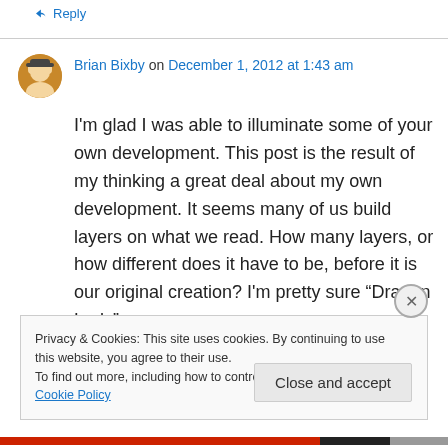↳ Reply
Brian Bixby on December 1, 2012 at 1:43 am
I'm glad I was able to illuminate some of your own development. This post is the result of my thinking a great deal about my own development. It seems many of us build layers on what we read. How many layers, or how different does it have to be, before it is our original creation? I'm pretty sure “Dragon Lady”
Privacy & Cookies: This site uses cookies. By continuing to use this website, you agree to their use.
To find out more, including how to control cookies, see here: Cookie Policy
Close and accept